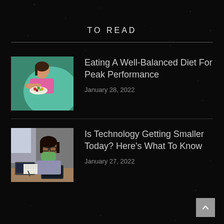TO READ
[Figure (photo): Woman in pink top holding a bowl of salad, leaning on a teal exercise ball]
Eating A Well-Balanced Diet For Peak Performance
January 28, 2022
[Figure (photo): Woman wearing a face mask working at a desk with a laptop and tablet]
Is Technology Getting Smaller Today? Here's What To Know
January 27, 2022